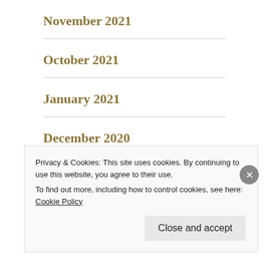November 2021
October 2021
January 2021
December 2020
November 2020
Privacy & Cookies: This site uses cookies. By continuing to use this website, you agree to their use.
To find out more, including how to control cookies, see here: Cookie Policy
Close and accept